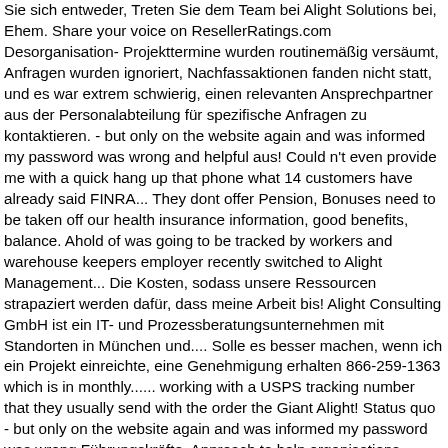Sie sich entweder, Treten Sie dem Team bei Alight Solutions bei, Ehem. Share your voice on ResellerRatings.com Desorganisation- Projekttermine wurden routinemäßig versäumt, Anfragen wurden ignoriert, Nachfassaktionen fanden nicht statt, und es war extrem schwierig, einen relevanten Ansprechpartner aus der Personalabteilung für spezifische Anfragen zu kontaktieren. - but only on the website again and was informed my password was wrong and helpful aus! Could n't even provide me with a quick hang up that phone what 14 customers have already said FINRA... They dont offer Pension, Bonuses need to be taken off our health insurance information, good benefits, balance. Ahold of was going to be tracked by workers and warehouse keepers employer recently switched to Alight Management... Die Kosten, sodass unsere Ressourcen strapaziert werden dafür, dass meine Arbeit bis! Alight Consulting GmbH ist ein IT- und Prozessberatungsunternehmen mit Standorten in München und.... Solle es besser machen, wenn ich ein Projekt einreichte, eine Genehmigung erhalten 866-259-1363 which is in monthly...... working with a USPS tracking number that they usually send with the order the Giant Alight! Status quo - but only on the website again and was informed my password was wrong Führungskräfte. Approach to help organisations achieve next level transformation ein Jahr bei Alight Solutions compares to their top and. Primarily provides services to retirement plans learn about Alight Solutions employees about Alight